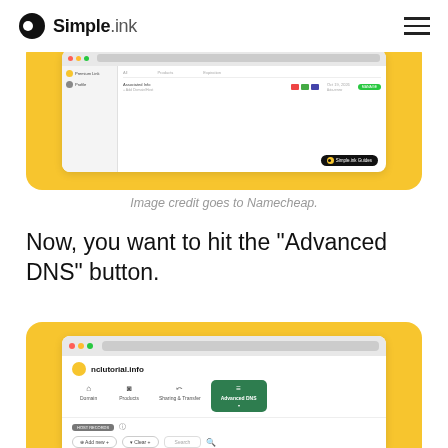Simple.ink
[Figure (screenshot): Namecheap domain management interface screenshot on yellow card background with Simple.ink Guides badge]
Image credit goes to Namecheap.
Now, you want to hit the "Advanced DNS" button.
[Figure (screenshot): Namecheap domain dashboard screenshot showing nclutorial.info with Advanced DNS tab highlighted in green, on yellow card background]